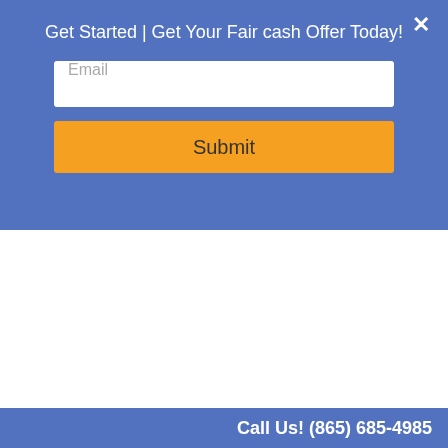Get Started | Get Your Fair cash Offer Today!
Email
Submit
[Figure (logo): Tennessee Property-Buyers logo with house and money pile illustration. Text: TENNESSEE PROPERTY-BUYERS www.tnpropertyliquidators.com]
Menu ▾
Best Way To Sell Your
Call Us! (865) 685-4985